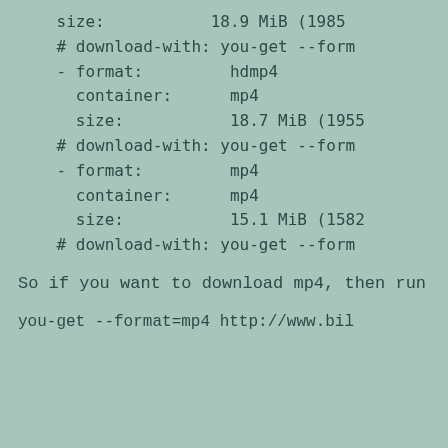size:           18.9 MiB (1985
    # download-with: you-get --form
    - format:         hdmp4
      container:      mp4
      size:           18.7 MiB (1955
    # download-with: you-get --form
    - format:         mp4
      container:      mp4
      size:           15.1 MiB (1582
    # download-with: you-get --form
So if you want to download mp4, then run
you-get --format=mp4 http://www.bil